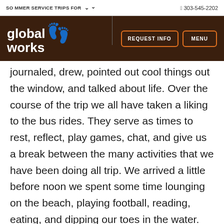SUMMER SERVICE TRIPS FOR ∨  ∨  ¢ 303-545-2202
[Figure (logo): Global Works logo with orange footprint on dark brown navigation bar, with REQUEST INFO and MENU buttons]
journaled, drew, pointed out cool things out the window, and talked about life. Over the course of the trip we all have taken a liking to the bus rides. They serve as times to rest, reflect, play games, chat, and give us a break between the many activities that we have been doing all trip. We arrived a little before noon we spent some time lounging on the beach, playing football, reading, eating, and dipping our toes in the water. After a while some people went out to go